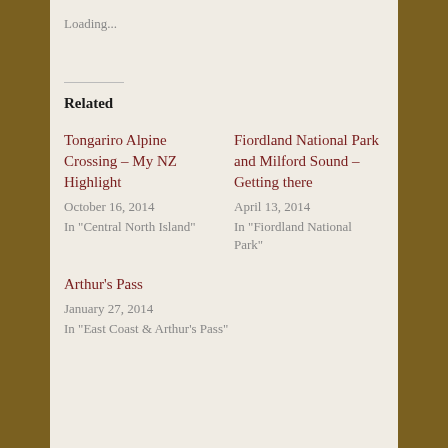Loading...
Related
Tongariro Alpine Crossing – My NZ Highlight
October 16, 2014
In "Central North Island"
Fiordland National Park and Milford Sound – Getting there
April 13, 2014
In "Fiordland National Park"
Arthur's Pass
January 27, 2014
In "East Coast & Arthur's Pass"